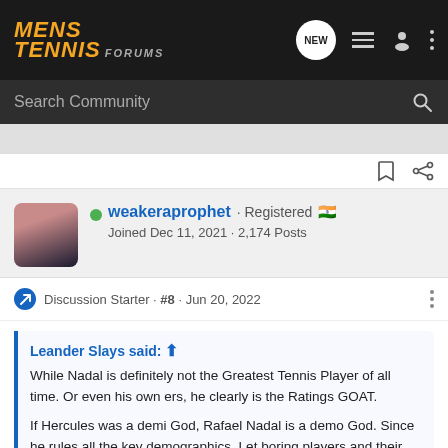[Figure (logo): Mens Tennis Forums logo in orange italic bold text on dark background with navigation icons]
[Figure (screenshot): Search Community bar with magnifying glass icon on dark background]
weakeraprophet · Registered 🇮🇳
Joined Dec 11, 2021 · 2,174 Posts
Discussion Starter · #8 · Jun 20, 2022
Leander Slays said: ⬆
While Nadal is definitely not the Greatest Tennis Player of all time. Or even his own ers, he clearly is the Ratings GOAT.
If Hercules was a demi God, Rafael Nadal is a demo God. Since he rules all the key demographics. Let boring players and their insecure fans fight over being the Goat. Nadal doesn't needs to be the GOAT